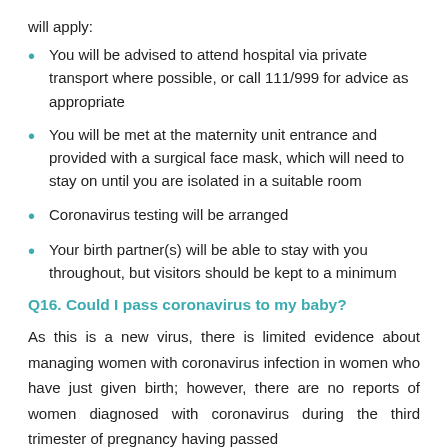will apply:
You will be advised to attend hospital via private transport where possible, or call 111/999 for advice as appropriate
You will be met at the maternity unit entrance and provided with a surgical face mask, which will need to stay on until you are isolated in a suitable room
Coronavirus testing will be arranged
Your birth partner(s) will be able to stay with you throughout, but visitors should be kept to a minimum
Q16. Could I pass coronavirus to my baby?
As this is a new virus, there is limited evidence about managing women with coronavirus infection in women who have just given birth; however, there are no reports of women diagnosed with coronavirus during the third trimester of pregnancy having passed